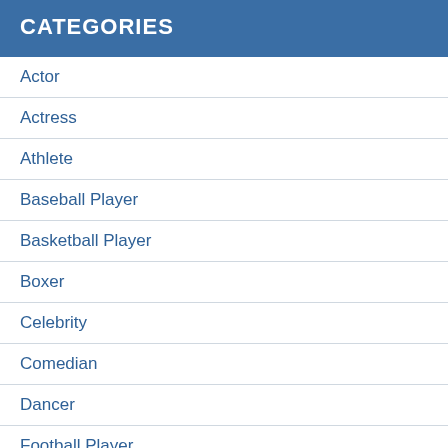CATEGORIES
Actor
Actress
Athlete
Baseball Player
Basketball Player
Boxer
Celebrity
Comedian
Dancer
Football Player
Instagram Star
Journalist
Model
Politician